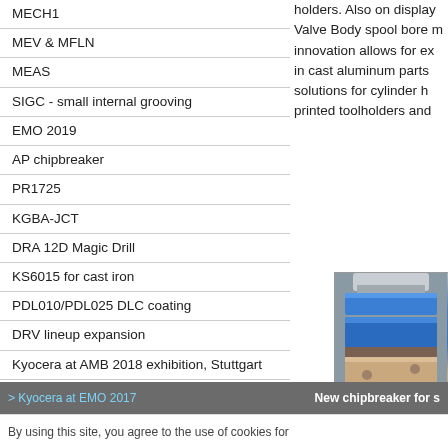MECH1
MEV & MFLN
MEAS
SIGC - small internal grooving
EMO 2019
AP chipbreaker
PR1725
KGBA-JCT
DRA 12D Magic Drill
KS6015 for cast iron
PDL010/PDL025 DLC coating
DRV lineup expansion
Kyocera at AMB 2018 exhibition, Stuttgart
CA025P - Steel cutting performance
DRA KM – Insert for cast iron
Hybrid cermet
DRA FTP - Counterboring insert
DRV Magic Drill
holders. Also on display Valve Body spool bore m innovation allows for ex in cast aluminum parts solutions for cylinder h printed toolholders and
[Figure (photo): Close-up photo of a Kyocera MFAH milling tool with blue and silver metallic body, cutting into a workpiece.]
MFAH mil
> Kyocera at EMO 2017   New chipbreaker for s
By using this site, you agree to the use of cookies for